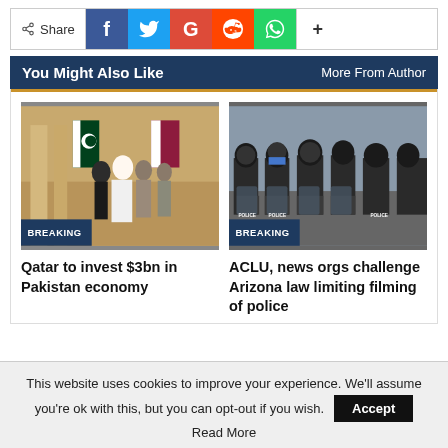[Figure (infographic): Social share bar with Share label, Facebook (blue), Twitter (light blue), Google+ (red), Reddit (orange), WhatsApp (green), and + button]
You Might Also Like | More From Author
[Figure (photo): Photo of officials standing near Pakistan and Qatar flags with BREAKING badge overlay]
Qatar to invest $3bn in Pakistan economy
[Figure (photo): Photo of police in riot gear lined up with BREAKING badge overlay]
ACLU, news orgs challenge Arizona law limiting filming of police
This website uses cookies to improve your experience. We'll assume you're ok with this, but you can opt-out if you wish. Accept Read More